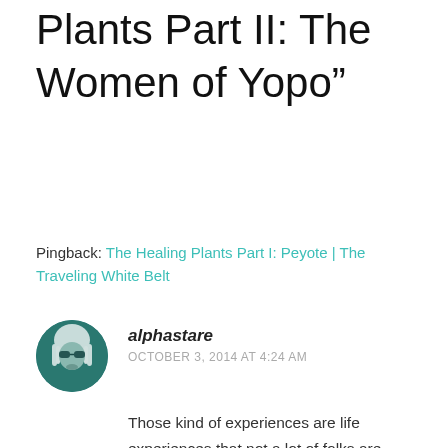Plants Part II: The Women of Yopo”
Pingback: The Healing Plants Part I: Peyote | The Traveling White Belt
alphastare
OCTOBER 3, 2014 AT 4:24 AM
Those kind of experiences are life experiences that not a lot of folks are privy to, you are very lucky. Thanks for sharing that.